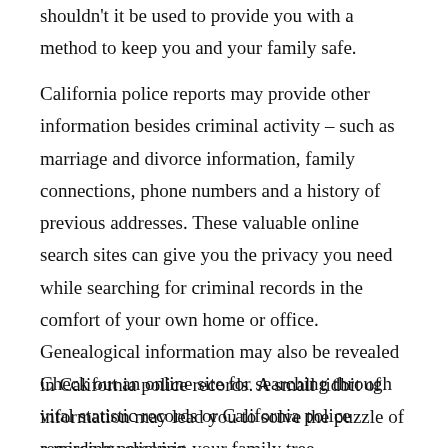shouldn't it be used to provide you with a method to keep you and your family safe.
California police reports may provide other information besides criminal activity – such as marriage and divorce information, family connections, phone numbers and a history of previous addresses. These valuable online search sites can give you the privacy you need while searching for criminal records in the comfort of your own home or office. Genealogical information may also be revealed in California police records. A small tidbit of information may lead you to solve the puzzle of a missing person in your family tree.
Check out an online site for searching through vital statistic records or California police records by clicking